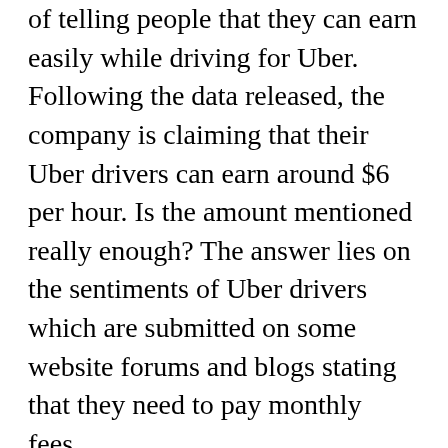of telling people that they can earn easily while driving for Uber. Following the data released, the company is claiming that their Uber drivers can earn around $6 per hour. Is the amount mentioned really enough? The answer lies on the sentiments of Uber drivers which are submitted on some website forums and blogs stating that they need to pay monthly fees.
They are discouraged with the fees on insurance, car maintenance, and gas. So if